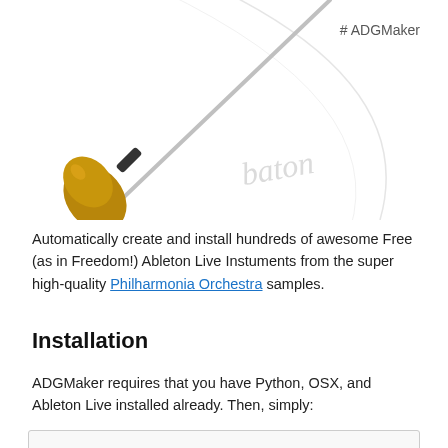[Figure (illustration): Illustration of a conductor's baton with a gold/brown handle, angled diagonally, with a faint cursive 'baton' text and circular sketch in the background. White background.]
# ADGMaker
Automatically create and install hundreds of awesome Free (as in Freedom!) Ableton Live Instuments from the super high-quality Philharmonia Orchestra samples.
Installation
ADGMaker requires that you have Python, OSX, and Ableton Live installed already. Then, simply: